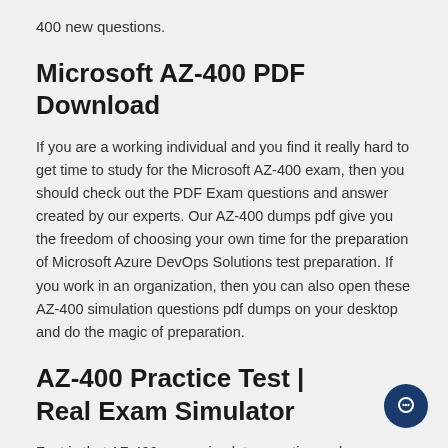400 new questions.
Microsoft AZ-400 PDF Download
If you are a working individual and you find it really hard to get time to study for the Microsoft AZ-400 exam, then you should check out the PDF Exam questions and answer created by our experts. Our AZ-400 dumps pdf give you the freedom of choosing your own time for the preparation of Microsoft Azure DevOps Solutions test preparation. If you work in an organization, then you can also open these AZ-400 simulation questions pdf dumps on your desktop and do the magic of preparation.
AZ-400 Practice Test | Real Exam Simulator
Fact is that AZ-400 exam simulator practice makes a man perfect. We believe in this quote and that's why we offer you Microsoft AZ-400 practice test exam